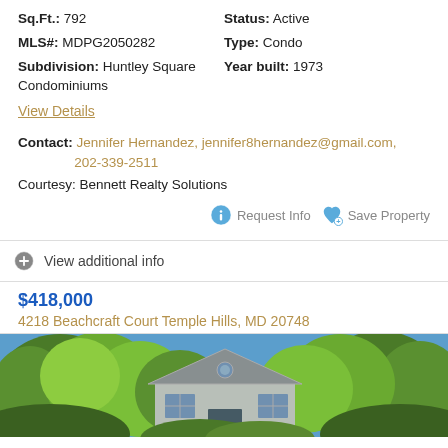Sq.Ft.: 792   Status: Active
MLS#: MDPG2050282   Type: Condo
Subdivision: Huntley Square Condominiums   Year built: 1973
View Details
Contact: Jennifer Hernandez, jennifer8hernandez@gmail.com, 202-339-2511
Courtesy: Bennett Realty Solutions
Request Info   Save Property
View additional info
$418,000
4218 Beachcraft Court Temple Hills, MD 20748
[Figure (photo): Exterior photo of a house with white/gray siding, surrounded by green trees under a blue sky.]